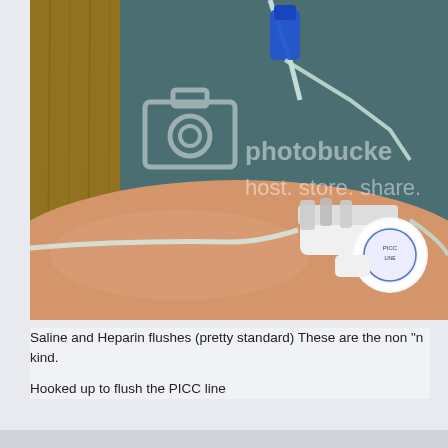[Figure (photo): Photo of a PICC line (peripherally inserted central catheter) inserted in a patient's arm. The line is connected to IV tubing with a blue connector at the top. A white stat-lock adhesive securement device holds the PICC line to the arm. There is a Photobucket watermark overlay on the image reading 'photobucket host. store. share.']
Saline and Heparin flushes (pretty standard) These are the non "n kind.
Hooked up to flush the PICC line